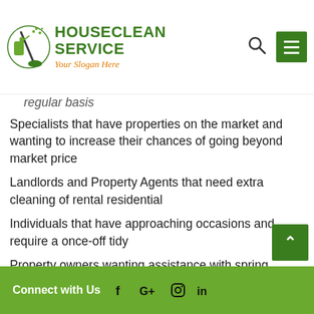HOUSECLEAN SERVICE — Your Slogan Here
regular basis
Specialists that have properties on the market and wanting to increase their chances of going beyond market price
Landlords and Property Agents that need extra cleaning of rental residential
Individuals that have approaching occasions and require a once-off tidy
Property owners wanting assistance with spring cleaning
When you are all set to set up a visit for cleaners in Conder simply contact us or request a free online quote today.
Connect with Us  f  G+  Instagram  in